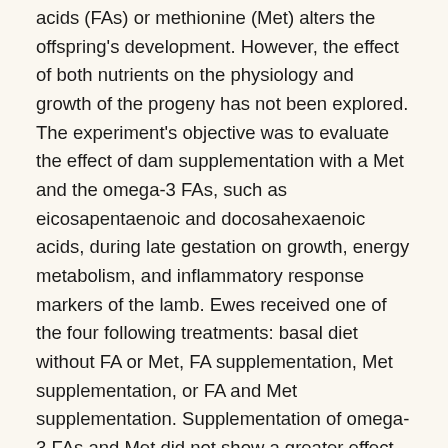acids (FAs) or methionine (Met) alters the offspring's development. However, the effect of both nutrients on the physiology and growth of the progeny has not been explored. The experiment's objective was to evaluate the effect of dam supplementation with a Met and the omega-3 FAs, such as eicosapentaenoic and docosahexaenoic acids, during late gestation on growth, energy metabolism, and inflammatory response markers of the lamb. Ewes received one of the four following treatments: basal diet without FA or Met, FA supplementation, Met supplementation, or FA and Met supplementation. Supplementation of omega-3 FAs and Met did not show a greater effect on postnatal growth and metabolism of the offspring compared with the supplementation of each nutrient individually. However, individual supplementation influences offspring development with a concomitant change in markers involved in the inflammatory